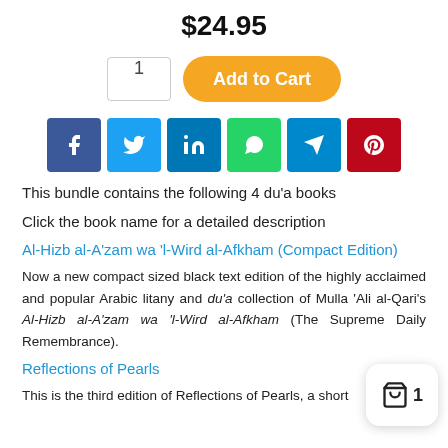$24.95
1  Add to Cart
[Figure (infographic): Social share buttons: Facebook, Twitter, LinkedIn, WhatsApp, Telegram, Pinterest]
This bundle contains the following 4 du'a books
Click the book name for a detailed description
Al-Hizb al-A'zam wa 'l-Wird al-Afkham (Compact Edition)
Now a new compact sized black text edition of the highly acclaimed and popular Arabic litany and du'a collection of Mulla 'Ali al-Qari's Al-Hizb al-A'zam wa 'l-Wird al-Afkham (The Supreme Daily Remembrance).
Reflections of Pearls
This is the third edition of Reflections of Pearls, a short